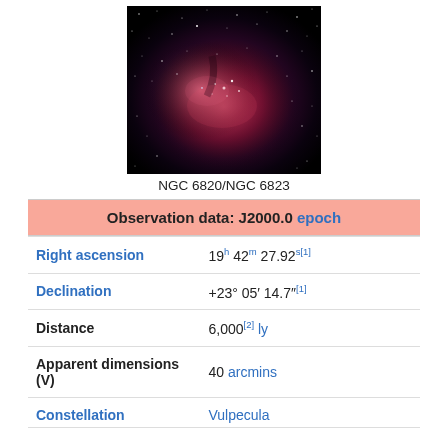[Figure (photo): Astronomical photograph of NGC 6820/NGC 6823 nebula, showing a reddish/pink emission nebula with stars against a dark background]
NGC 6820/NGC 6823
| Property | Value |
| --- | --- |
| Observation data: J2000.0 epoch |  |
| Right ascension | 19h 42m 27.92s[1] |
| Declination | +23° 05′ 14.7"[1] |
| Distance | 6,000[2] ly |
| Apparent dimensions (V) | 40 arcmins |
| Constellation | Vulpecula |